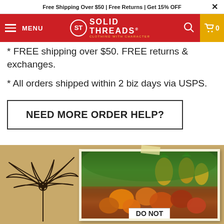Free Shipping Over $50 | Free Returns | Get 15% OFF
[Figure (logo): Solid Threads logo with red navigation bar, hamburger menu, search icon, and cart icon]
* FREE shipping over $50. FREE returns & exchanges.
* All orders shipped within 2 biz days via USPS.
NEED MORE ORDER HELP?
[Figure (illustration): Kraft paper background with black line drawing of a tropical flower/plant on the left and a photo card showing a fruit market stand with pineapples and tropical fruits, with a 'DO NOT' sign at the bottom]